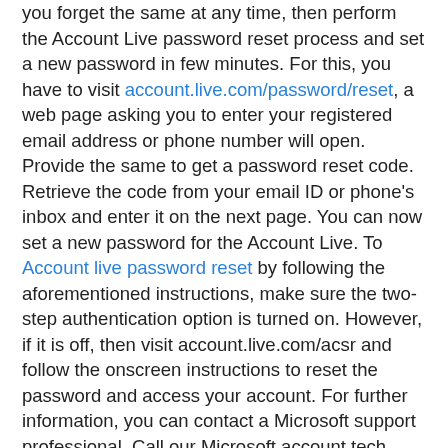you forget the same at any time, then perform the Account Live password reset process and set a new password in few minutes. For this, you have to visit account.live.com/password/reset, a web page asking you to enter your registered email address or phone number will open. Provide the same to get a password reset code. Retrieve the code from your email ID or phone's inbox and enter it on the next page. You can now set a new password for the Account Live. To Account live password reset by following the aforementioned instructions, make sure the two-step authentication option is turned on. However, if it is off, then visit account.live.com/acsr and follow the onscreen instructions to reset the password and access your account. For further information, you can contact a Microsoft support professional. Call our Microsoft account tech support number (1-877-814-4455) today to receive the most viable solution to your Microsoft account related issues. To Click for More Details: account.live.com/password/reset